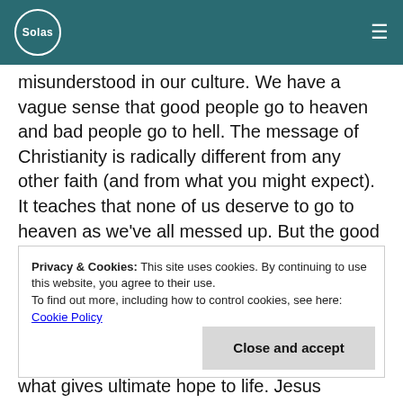Solas
misunderstood in our culture. We have a vague sense that good people go to heaven and bad people go to hell. The message of Christianity is radically different from any other faith (and from what you might expect). It teaches that none of us deserve to go to heaven as we've all messed up. But the good news is that Jesus has paid the price for our rebellion against God by his death and resurrection. The historical fact of Jesus' resurrection[4] guarantees that anyone who puts their
Privacy & Cookies: This site uses cookies. By continuing to use this website, you agree to their use.
To find out more, including how to control cookies, see here: Cookie Policy
Close and accept
what gives ultimate hope to life. Jesus teaches about